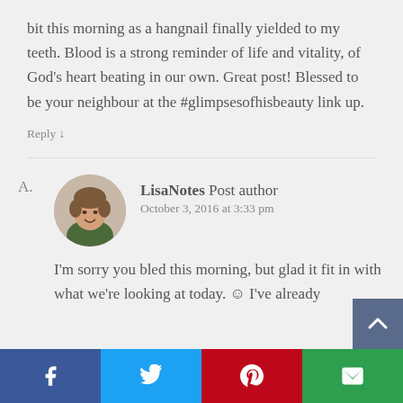bit this morning as a hangnail finally yielded to my teeth. Blood is a strong reminder of life and vitality, of God’s heart beating in our own. Great post! Blessed to be your neighbour at the #glimpsesofhisbeauty link up.
Reply ↓
A.
[Figure (photo): Avatar photo of LisaNotes, a woman with short brown hair smiling]
LisaNotes Post author
October 3, 2016 at 3:33 pm
I’m sorry you bled this morning, but glad it fit in with what we’re looking at today. ☺ I’ve already